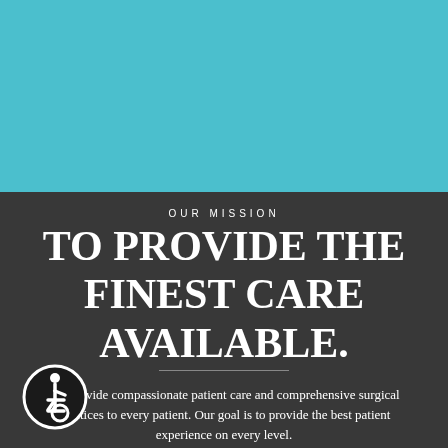[Figure (illustration): Teal/cyan colored rectangle filling the top portion of the page, likely containing an image]
OUR MISSION
TO PROVIDE THE FINEST CARE AVAILABLE.
We provide compassionate patient care and comprehensive surgical practices to every patient. Our goal is to provide the best patient experience on every level.
[Figure (illustration): Wheelchair accessibility icon — white wheelchair symbol on black circular background with white border]